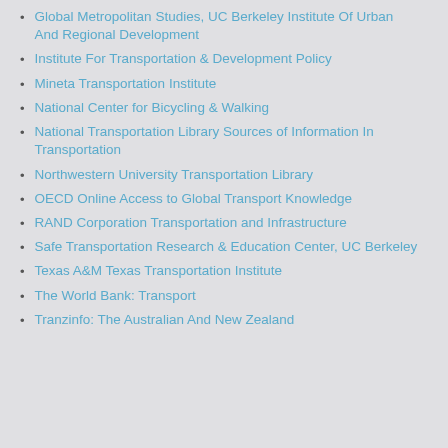Global Metropolitan Studies, UC Berkeley Institute Of Urban And Regional Development
Institute For Transportation & Development Policy
Mineta Transportation Institute
National Center for Bicycling & Walking
National Transportation Library Sources of Information In Transportation
Northwestern University Transportation Library
OECD Online Access to Global Transport Knowledge
RAND Corporation Transportation and Infrastructure
Safe Transportation Research & Education Center, UC Berkeley
Texas A&M Texas Transportation Institute
The World Bank: Transport
Tranzinfo: The Australian And New Zealand